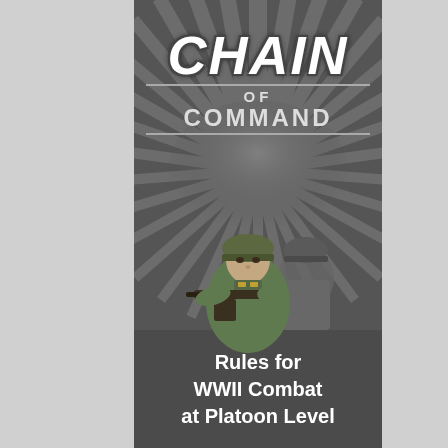[Figure (illustration): Book cover for 'Chain of Command' WWII tabletop wargame rules. Dark gray background with radial burst lines, large stylized title text 'CHAIN OF COMMAND', illustration of two WWII German soldiers, and subtitle 'Rules for WWII Combat at Platoon Level' in white text.]
CHAIN OF COMMAND
Rules for WWII Combat at Platoon Level